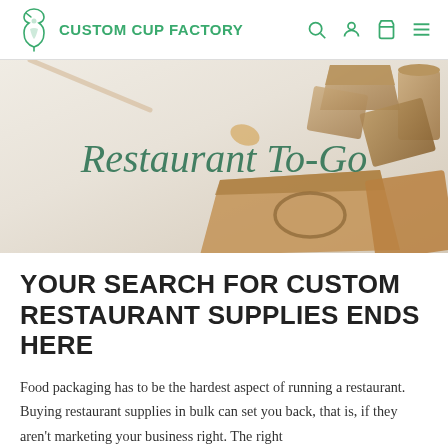CUSTOM CUP FACTORY
[Figure (photo): Hero banner showing kraft paper takeout boxes, bags, and cups arranged on a white surface, with overlaid italic text 'Restaurant To-Go' in green]
YOUR SEARCH FOR CUSTOM RESTAURANT SUPPLIES ENDS HERE
Food packaging has to be the hardest aspect of running a restaurant. Buying restaurant supplies in bulk can set you back, that is, if they aren't marketing your business right. The right